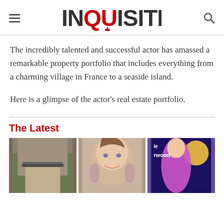INQUISITR
The incredibly talented and successful actor has amassed a remarkable property portfolio that includes everything from a charming village in France to a seaside island.

Here is a glimpse of the actor’s real estate portfolio.
The Latest
[Figure (photo): Three thumbnail photos side by side: a man with glasses, a woman smiling, and a woman in a purple outfit on stage.]